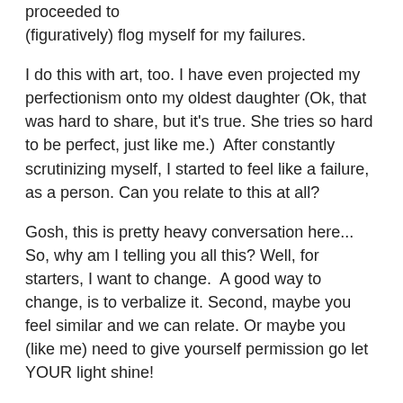proceeded to (figuratively) flog myself for my failures.
I do this with art, too. I have even projected my perfectionism onto my oldest daughter (Ok, that was hard to share, but it's true. She tries so hard to be perfect, just like me.)  After constantly scrutinizing myself, I started to feel like a failure, as a person. Can you relate to this at all?
Gosh, this is pretty heavy conversation here... So, why am I telling you all this? Well, for starters, I want to change.  A good way to change, is to verbalize it. Second, maybe you feel similar and we can relate. Or maybe you (like me) need to give yourself permission go let YOUR light shine!